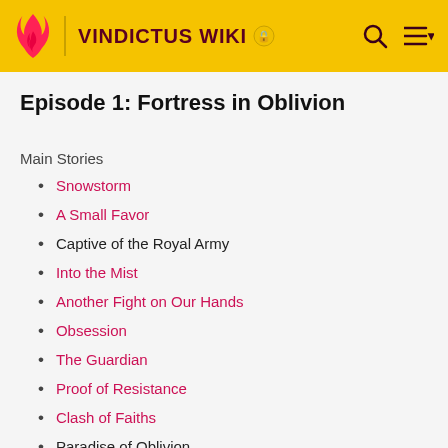VINDICTUS WIKI
Episode 1: Fortress in Oblivion
Main Stories
Snowstorm
A Small Favor
Captive of the Royal Army
Into the Mist
Another Fight on Our Hands
Obsession
The Guardian
Proof of Resistance
Clash of Faiths
Paradise of Oblivion
Revelation RAID